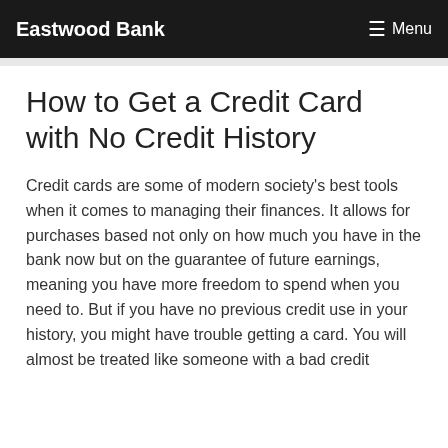Eastwood Bank
How to Get a Credit Card with No Credit History
Credit cards are some of modern society's best tools when it comes to managing their finances. It allows for purchases based not only on how much you have in the bank now but on the guarantee of future earnings, meaning you have more freedom to spend when you need to. But if you have no previous credit use in your history, you might have trouble getting a card. You will almost be treated like someone with a bad credit